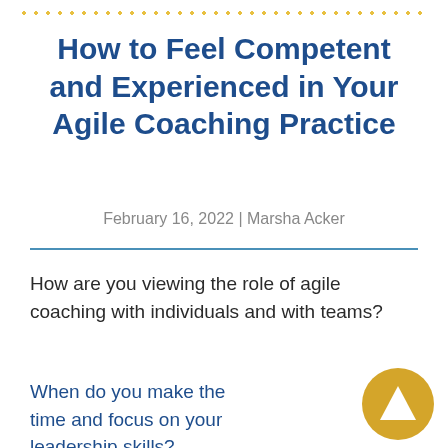dotted border decoration
How to Feel Competent and Experienced in Your Agile Coaching Practice
February 16, 2022 | Marsha Acker
How are you viewing the role of agile coaching with individuals and with teams?
When do you make the time and focus on your leadership skills?
[Figure (illustration): Gold/yellow circular button with white upward-pointing triangle arrow]